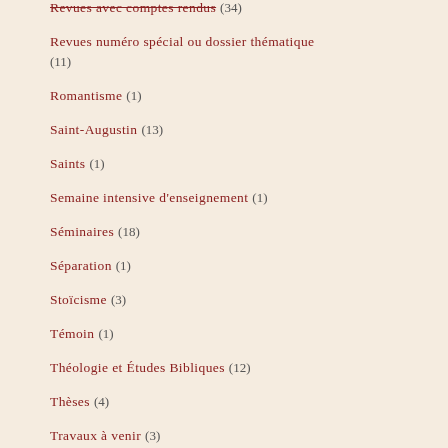Revues avec comptes rendus (34)
Revues numéro spécial ou dossier thématique (11)
Romantisme (1)
Saint-Augustin (13)
Saints (1)
Semaine intensive d'enseignement (1)
Séminaires (18)
Séparation (1)
Stoïcisme (3)
Témoin (1)
Théologie et Études Bibliques (12)
Thèses (4)
Travaux à venir (3)
Vertu (2)
Vêtement (2)
Vidéos et Chaînes en-ligne (2)